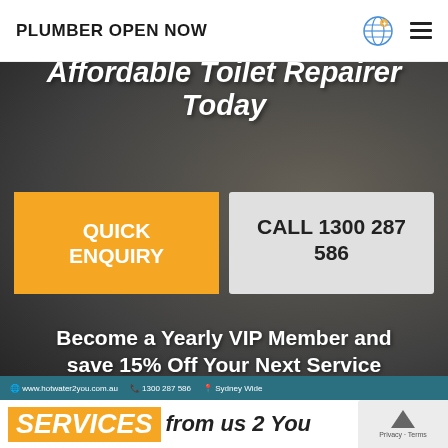PLUMBER OPEN NOW
Affordable Toilet Repairer Today
QUICK ENQUIRY
CALL 1300 287 586
Become a Yearly VIP Member and save 15% Off Your Next Service
www.hotwater2you.com.au  1300 287 586  Sydney Wide
SERVICES from us 2 You